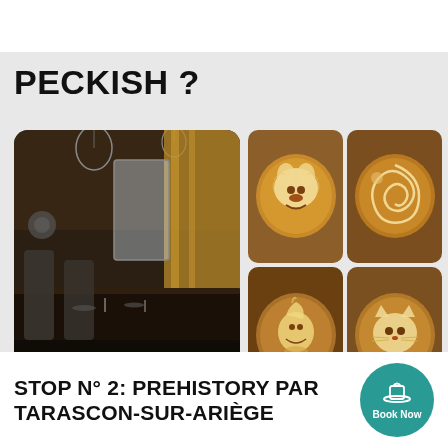PECKISH ?
[Figure (photo): Restaurant interior with long dining table, dark chairs, pendant lights, golden curtains — AND WHY NOT? FOIX]
[Figure (photo): Four latte art coffees in 2x2 grid showing animal designs — PASTIME, FOIX - restaurant]
STOP N° 2: PREHISTORY PARK TARASCON-SUR-ARIÈGE